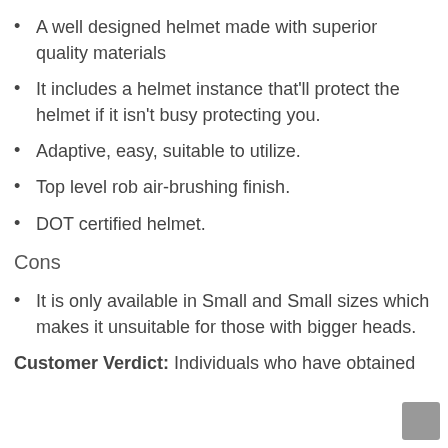A well designed helmet made with superior quality materials
It includes a helmet instance that’ll protect the helmet if it isn’t busy protecting you.
Adaptive, easy, suitable to utilize.
Top level rob air-brushing finish.
DOT certified helmet.
Cons
It is only available in Small and Small sizes which makes it unsuitable for those with bigger heads.
Customer Verdict: Individuals who have obtained